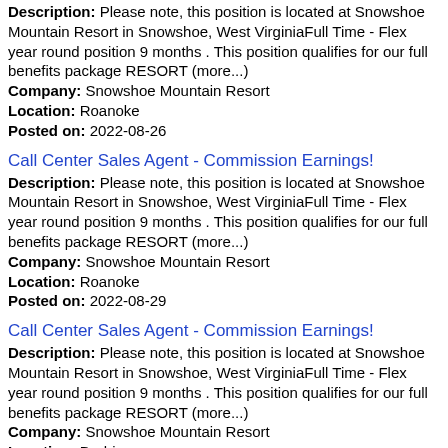Description: Please note, this position is located at Snowshoe Mountain Resort in Snowshoe, West VirginiaFull Time - Flex year round position 9 months . This position qualifies for our full benefits package RESORT (more...) Company: Snowshoe Mountain Resort Location: Roanoke Posted on: 2022-08-26
Call Center Sales Agent - Commission Earnings!
Description: Please note, this position is located at Snowshoe Mountain Resort in Snowshoe, West VirginiaFull Time - Flex year round position 9 months . This position qualifies for our full benefits package RESORT (more...) Company: Snowshoe Mountain Resort Location: Roanoke Posted on: 2022-08-29
Call Center Sales Agent - Commission Earnings!
Description: Please note, this position is located at Snowshoe Mountain Resort in Snowshoe, West VirginiaFull Time - Flex year round position 9 months . This position qualifies for our full benefits package RESORT (more...) Company: Snowshoe Mountain Resort Location: Durbin Posted on: 2022-08-29
Call Center Sales Agent - Commission Earnings!
Description: Please note, this position is located at Snowshoe